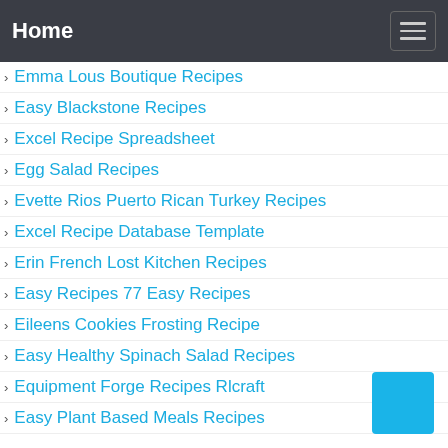Home
Emma Lous Boutique Recipes
Easy Blackstone Recipes
Excel Recipe Spreadsheet
Egg Salad Recipes
Evette Rios Puerto Rican Turkey Recipes
Excel Recipe Database Template
Erin French Lost Kitchen Recipes
Easy Recipes 77 Easy Recipes
Eileens Cookies Frosting Recipe
Easy Healthy Spinach Salad Recipes
Equipment Forge Recipes Rlcraft
Easy Plant Based Meals Recipes